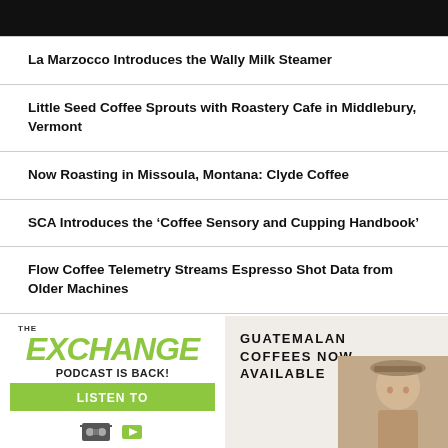[Figure (other): Black header bar at top of page]
La Marzocco Introduces the Wally Milk Steamer
Little Seed Coffee Sprouts with Roastery Cafe in Middlebury, Vermont
Now Roasting in Missoula, Montana: Clyde Coffee
SCA Introduces the ‘Coffee Sensory and Cupping Handbook’
Flow Coffee Telemetry Streams Espresso Shot Data from Older Machines
[Figure (illustration): The Exchange Podcast is Back! Listen To banner advertisement with green logo]
[Figure (photo): Guatemalan Coffees Now Available advertisement with person wearing hat]